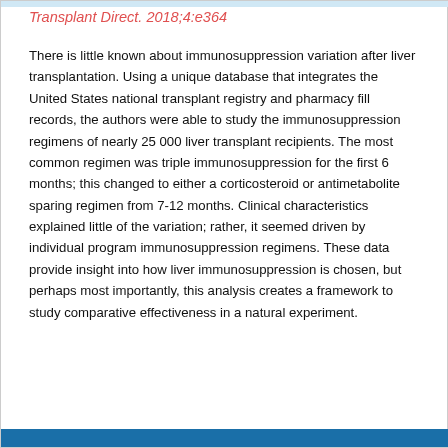Transplant Direct. 2018;4:e364
There is little known about immunosuppression variation after liver transplantation. Using a unique database that integrates the United States national transplant registry and pharmacy fill records, the authors were able to study the immunosuppression regimens of nearly 25 000 liver transplant recipients. The most common regimen was triple immunosuppression for the first 6 months; this changed to either a corticosteroid or antimetabolite sparing regimen from 7-12 months. Clinical characteristics explained little of the variation; rather, it seemed driven by individual program immunosuppression regimens. These data provide insight into how liver immunosuppression is chosen, but perhaps most importantly, this analysis creates a framework to study comparative effectiveness in a natural experiment.